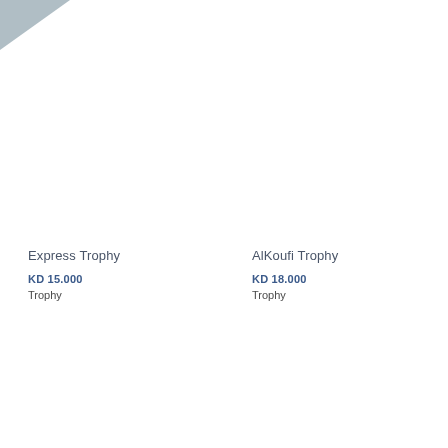[Figure (illustration): Gray decorative angular shape in top-left corner of the page]
Express Trophy
KD 15.000
Trophy
AlKoufi Trophy
KD 18.000
Trophy